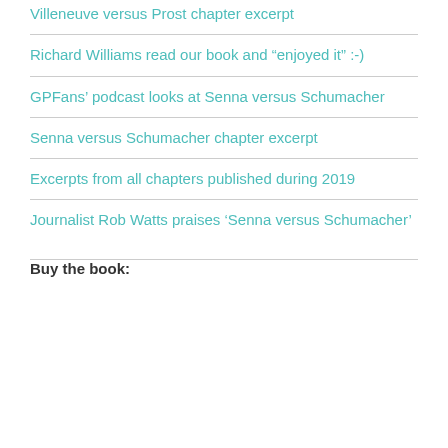Villeneuve versus Prost chapter excerpt
Richard Williams read our book and “enjoyed it” :-)
GPFans’ podcast looks at Senna versus Schumacher
Senna versus Schumacher chapter excerpt
Excerpts from all chapters published during 2019
Journalist Rob Watts praises ‘Senna versus Schumacher’
Buy the book: